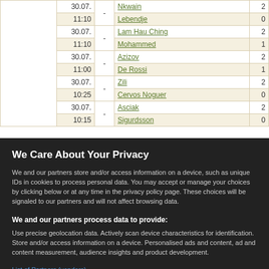|  | Date | Score | Name | Num |
| --- | --- | --- | --- | --- |
|  | 30.07. | - | Nkwain | 2 |
|  | 11:10 |  | Lebendje | 0 |
|  | 30.07. | - | Lam Hau Ching | 2 |
|  | 11:10 |  | Mohammed | 1 |
|  | 30.07. | - | Azizov | 2 |
|  | 11:00 |  | De Rossi | 1 |
|  | 30.07. | - | Zili | 2 |
|  | 10:25 |  | Cervos Noguer | 0 |
|  | 30.07. | - | Asciak | 2 |
|  | 10:15 |  | Sigurdsson | 0 |
We Care About Your Privacy
We and our partners store and/or access information on a device, such as unique IDs in cookies to process personal data. You may accept or manage your choices by clicking below or at any time in the privacy policy page. These choices will be signaled to our partners and will not affect browsing data.
We and our partners process data to provide:
Use precise geolocation data. Actively scan device characteristics for identification. Store and/or access information on a device. Personalised ads and content, ad and content measurement, audience insights and product development.
List of Partners (vendors)